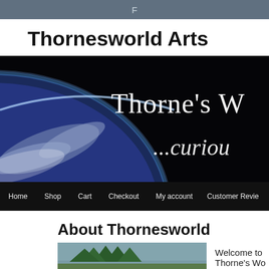F
Thornesworld Arts
[Figure (screenshot): Thornesworld Arts website banner image showing Earth from space with text "Thorne's W" and "...curiou" overlaid in white, with navigation bar at bottom showing Home, Shop, Cart, Checkout, My account, Customer Revie...]
About Thornesworld
[Figure (photo): Partial photo at bottom left, appears to show trees/landscape]
Welcome to Thorne's Wo